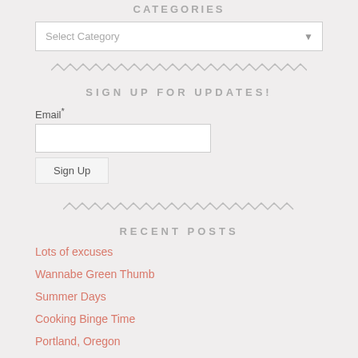CATEGORIES
[Figure (other): Dropdown select box with 'Select Category' placeholder]
[Figure (other): Zigzag decorative divider line]
SIGN UP FOR UPDATES!
Email*
[Figure (other): Email text input field]
[Figure (other): Sign Up button]
[Figure (other): Zigzag decorative divider line]
RECENT POSTS
Lots of excuses
Wannabe Green Thumb
Summer Days
Cooking Binge Time
Portland, Oregon